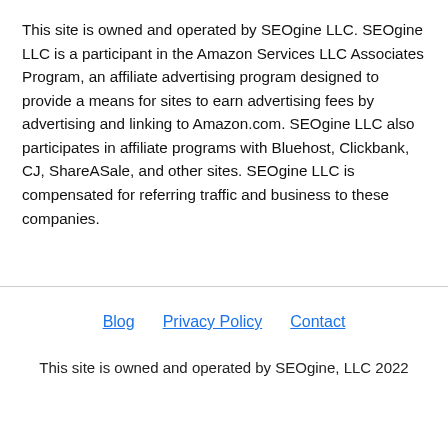This site is owned and operated by SEOgine LLC. SEOgine LLC is a participant in the Amazon Services LLC Associates Program, an affiliate advertising program designed to provide a means for sites to earn advertising fees by advertising and linking to Amazon.com. SEOgine LLC also participates in affiliate programs with Bluehost, Clickbank, CJ, ShareASale, and other sites. SEOgine LLC is compensated for referring traffic and business to these companies.
Blog  Privacy Policy  Contact
This site is owned and operated by SEOgine, LLC 2022